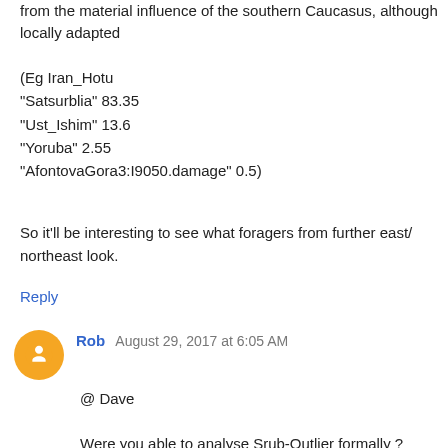from the material influence of the southern Caucasus, although locally adapted
(Eg Iran_Hotu
"Satsurblia" 83.35
"Ust_Ishim" 13.6
"Yoruba" 2.55
"AfontovaGora3:I9050.damage" 0.5)
So it'll be interesting to see what foragers from further east/northeast look.
Reply
Rob August 29, 2017 at 6:05 AM
@ Dave

Were you able to analyse Srub-Outlier formally ?
I would tend to agree it's something western steppe admixed with local HGs, but PCA gives inconsistent results (i.e. they flip n flop)